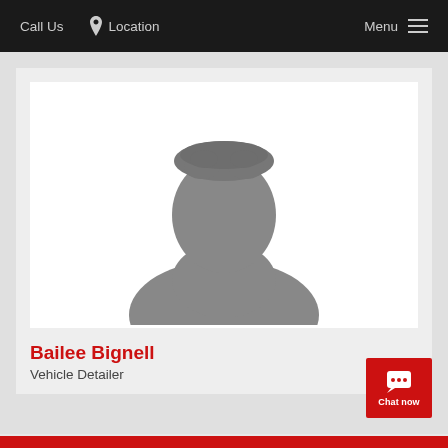Call Us  Location  Menu
[Figure (photo): Generic silhouette placeholder profile photo of a person on white background]
Bailee Bignell
Vehicle Detailer